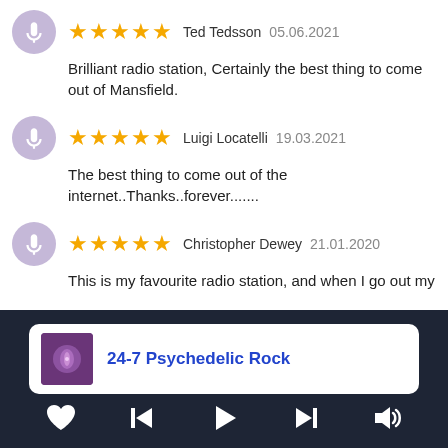★★★★★ Ted Tedsson 05.06.2021 — Brilliant radio station, Certainly the best thing to come out of Mansfield.
★★★★★ Luigi Locatelli 19.03.2021 — The best thing to come out of the internet..Thanks..forever.......
★★★★★ Christopher Dewey 21.01.2020 — This is my favourite radio station, and when I go out my
24-7 Psychedelic Rock